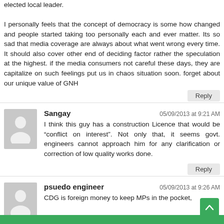elected local leader. I personally feels that the concept of democracy is some how changed and people started taking too personally each and ever matter. Its so sad that media coverage are always about what went wrong every time. It should also cover other end of deciding factor rather the speculation at the highest. if the media consumers not careful these days, they are capitalize on such feelings put us in chaos situation soon. forget about our unique value of GNH
Reply
Sangay   05/09/2013 at 9:21 AM
I think this guy has a construction Licence that would be “conflict on interest”. Not only that, it seems govt. engineers cannot approach him for any clarification or correction of low quality works done.
Reply
psuedo engineer   05/09/2013 at 9:26 AM
CDG is foreign money to keep MPs in the pocket,